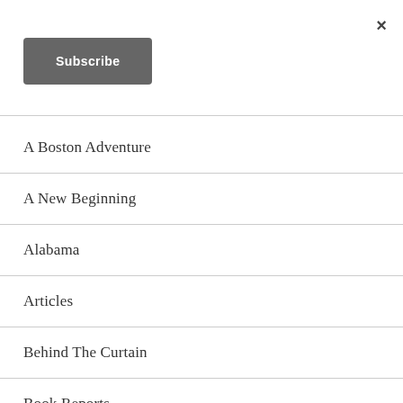×
Subscribe
A Boston Adventure
A New Beginning
Alabama
Articles
Behind The Curtain
Book Reports
Book Teasers